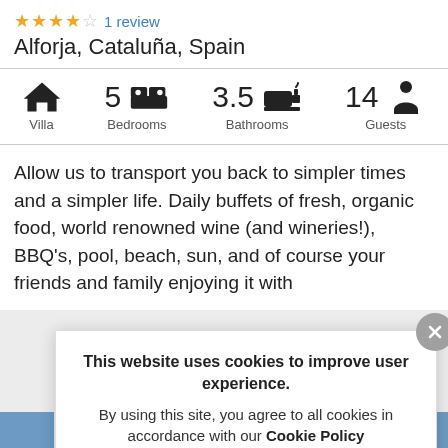★★★★☆ 1 review
Alforja, Cataluña, Spain
[Figure (infographic): Property info bar showing: Villa (house icon), 5 Bedrooms (bed icon), 3.5 Bathrooms (bath icon), 14 Guests (person icon)]
Allow us to transport you back to simpler times and a simpler life. Daily buffets of fresh, organic food, world renowned wine (and wineries!), BBQ's, pool, beach, sun, and of course your friends and family enjoying it with yo...nd m...s un...m th... ph... D...
This website uses cookies to improve user experience.
By using this site, you agree to all cookies in accordance with our Cookie Policy